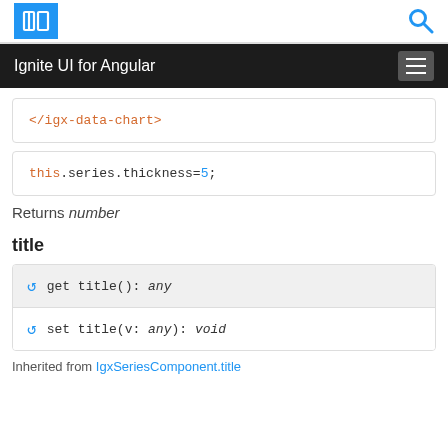Ignite UI for Angular
</igx-data-chart>
this.series.thickness=5;
Returns number
title
get title(): any
set title(v: any): void
Inherited from IgxSeriesComponent.title